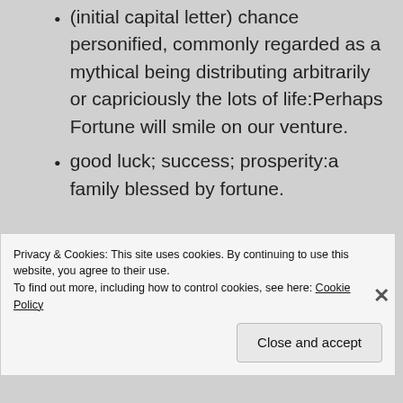(initial capital letter) chance personified, commonly regarded as a mythical being distributing arbitrarily or capriciously the lots of life:Perhaps Fortune will smile on our venture.
good luck; success; prosperity:a family blessed by fortune.
Privacy & Cookies: This site uses cookies. By continuing to use this website, you agree to their use.
To find out more, including how to control cookies, see here: Cookie Policy
Close and accept